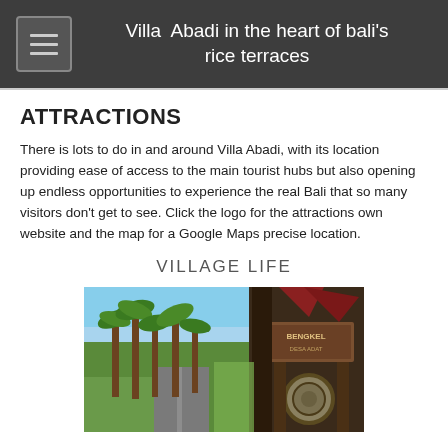Villa Abadi in the heart of bali's rice terraces
ATTRACTIONS
There is lots to do in and around Villa Abadi, with its location providing ease of access to the main tourist hubs but also opening up endless opportunities to experience the real Bali that so many visitors don't get to see. Click the logo for the attractions own website and the map for a Google Maps precise location.
VILLAGE LIFE
[Figure (photo): A village entrance photo showing palm trees along a road on the left side and a Balinese gate/signpost with 'DESA ADAT' or similar inscription on the right side, with a traditional triangular rooftop and decorative circular carving.]